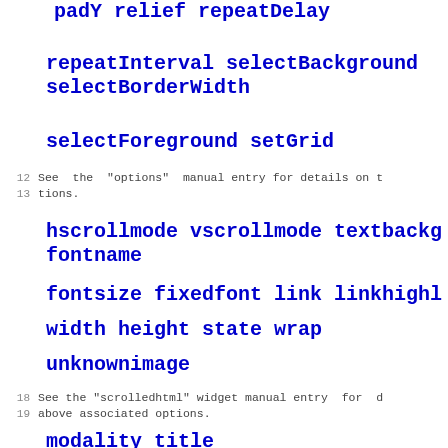padY relief repeatDelay
repeatInterval selectBackground selectBorderWidth
selectForeground setGrid
12   See the "options" manual entry for details on t-
13   tions.
hscrollmode vscrollmode textbackg-
fontname
fontsize fixedfont link linkhighl-
width height state wrap
unknownimage
18   See the "scrolledhtml" widget manual entry for d-
19   above associated options.
modality title
21   See the "shell" manual entry for details on the